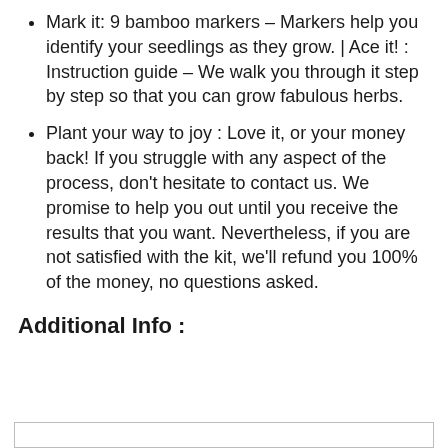Mark it: 9 bamboo markers – Markers help you identify your seedlings as they grow. | Ace it! : Instruction guide – We walk you through it step by step so that you can grow fabulous herbs.
Plant your way to joy : Love it, or your money back! If you struggle with any aspect of the process, don't hesitate to contact us. We promise to help you out until you receive the results that you want. Nevertheless, if you are not satisfied with the kit, we'll refund you 100% of the money, no questions asked.
Additional Info :